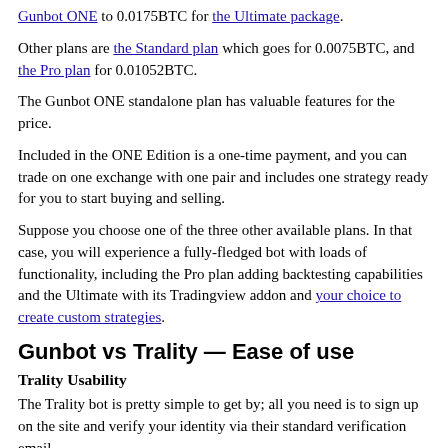Gunbot ONE to 0.0175BTC for the Ultimate package.
Other plans are the Standard plan which goes for 0.0075BTC, and the Pro plan for 0.01052BTC.
The Gunbot ONE standalone plan has valuable features for the price.
Included in the ONE Edition is a one-time payment, and you can trade on one exchange with one pair and includes one strategy ready for you to start buying and selling.
Suppose you choose one of the three other available plans. In that case, you will experience a fully-fledged bot with loads of functionality, including the Pro plan adding backtesting capabilities and the Ultimate with its Tradingview addon and your choice to create custom strategies.
Gunbot vs Trality — Ease of use
Trality Usability
The Trality bot is pretty simple to get by; all you need is to sign up on the site and verify your identity via their standard verification email.